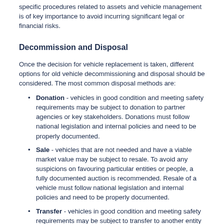specific procedures related to assets and vehicle management is of key importance to avoid incurring significant legal or financial risks.
Decommission and Disposal
Once the decision for vehicle replacement is taken, different options for old vehicle decommissioning and disposal should be considered. The most common disposal methods are:
Donation - vehicles in good condition and meeting safety requirements may be subject to donation to partner agencies or key stakeholders. Donations must follow national legislation and internal policies and need to be properly documented.
Sale - vehicles that are not needed and have a viable market value may be subject to resale. To avoid any suspicions on favouring particular entities or people, a fully documented auction is recommended. Resale of a vehicle must follow national legislation and internal policies and need to be properly documented.
Transfer - vehicles in good condition and meeting safety requirements may be subject to transfer to another entity or